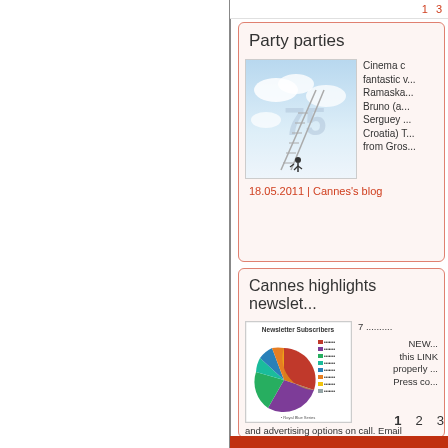1  3
Party parties
[Figure (photo): Person climbing stairs into cloudy sky with number 75]
Cinema c... fantastic v... Ramaska... Bruno (a... Serguey ... Croatia) T... from Gros...
18.05.2011 | Cannes's blog
Cannes highlights newslet...
[Figure (pie-chart): Newsletter Subscribers pie chart with multiple colored slices and legend]
7 .......... NEWSLETTER this LINK properly ... Press co... and advertising options on call. Email
15.05.2011 | Newsletter's blog
1  2  3